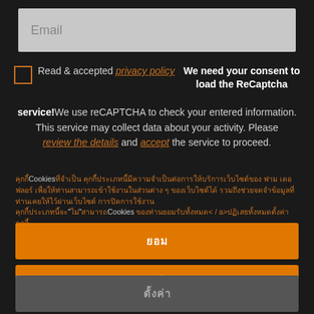Email
Read & accepted privacy policy   We need your consent to load the ReCaptcha service! We use reCAPTCHA to check your entered information. This service may collect data about your activity. Please review the details and accept the service to proceed.
คุกกี้ Cookies ที่จำเป็น คุกกี้ประเภทนี้มีความจำเป็นต่อการให้บริการเว็บไซต์ของ ฟาม เดอ ฟลอร์ เพื่อให้ท่านสามารถเข้าใช้งานในส่วนต่าง ๆ ของเว็บไซต์ได้ รวมถึงช่วยจดจำข้อมูลที่ท่านเคยให้ไว้ผ่านเว็บไซต์ การปิดการใช้งาน คุกกี้ประเภทนี้จะไม่สามารถใช้บริการเว็บไซต์ ฟาม เดอ ฟลอร์ ได้ โดยจะสามารถจัดการได้ในการตั้งค่าเบราว์เซอร์ของท่านยอมรับ< / a>ปฏิเสธทั้งหมดตั้งค่าคุกกี้
ยอม
ปฏิเสธทั้งหมด
ตั้งค่า